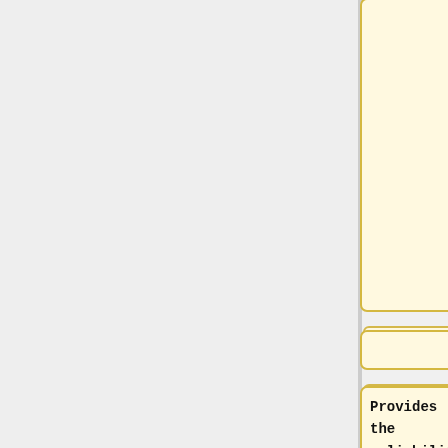[Figure (flowchart): A diff/comparison diagram showing two columns of rounded-rectangle boxes. Left column has yellow-bordered boxes, right column has blue-bordered boxes. Top-right blue box contains text 'reliability of firmware with the ease-of-use of package managers.' Middle-left yellow box contains 'Provides the reliability of firmware with the ease-of-use of package managers.' Middle-right blue box contains '==== Download ===='. Bottom-right blue box contains 'The repository and instructions'. Minus (-) and plus (+) symbols between boxes indicate diff operations.]
reliability of firmware with the ease-of-use of package managers.
Provides the reliability of firmware with the ease-of-use of package managers.
==== Download ====
The repository and instructions